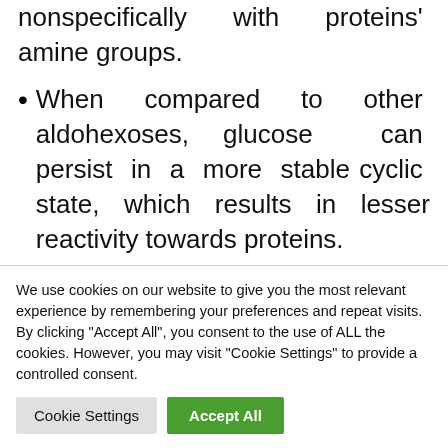nonspecifically with proteins' amine groups.
When compared to other aldohexoses, glucose can persist in a more stable cyclic state, which results in lesser reactivity towards proteins.
In living systems, glucose is frequently found as polymers rather than in its free
We use cookies on our website to give you the most relevant experience by remembering your preferences and repeat visits. By clicking "Accept All", you consent to the use of ALL the cookies. However, you may visit "Cookie Settings" to provide a controlled consent.